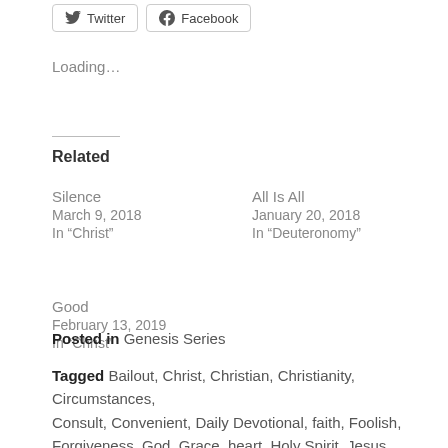[Figure (other): Twitter and Facebook social share buttons]
Loading...
Related
Silence
March 9, 2018
In “Christ”
All Is All
January 20, 2018
In “Deuteronomy”
Good
February 13, 2019
In “Christ”
Posted in Genesis Series
Tagged Bailout, Christ, Christian, Christianity, Circumstances, Consult, Convenient, Daily Devotional, faith, Foolish, Forgiveness, God, Grace, heart, Holy Spirit, Jesus, Love, Mercy,